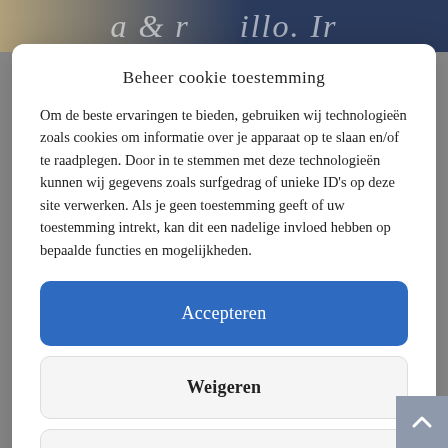[Figure (screenshot): Background header area with decorative script text in tan/navy gradient]
Beheer cookie toestemming
Om de beste ervaringen te bieden, gebruiken wij technologieën zoals cookies om informatie over je apparaat op te slaan en/of te raadplegen. Door in te stemmen met deze technologieën kunnen wij gegevens zoals surfgedrag of unieke ID's op deze site verwerken. Als je geen toestemming geeft of uw toestemming intrekt, kan dit een nadelige invloed hebben op bepaalde functies en mogelijkheden.
Accepteren
Weigeren
Bekijk voorkeuren
Privacy & Cookie Policy